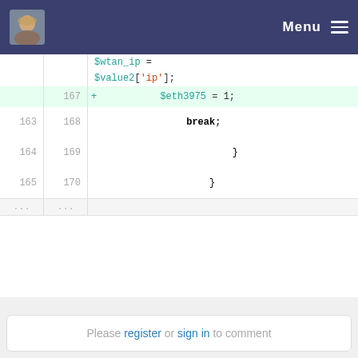Menu
[Figure (screenshot): Code diff view showing PHP lines 163-170 with an added line 167 setting $eth3975 = 1]
Please register or sign in to comment